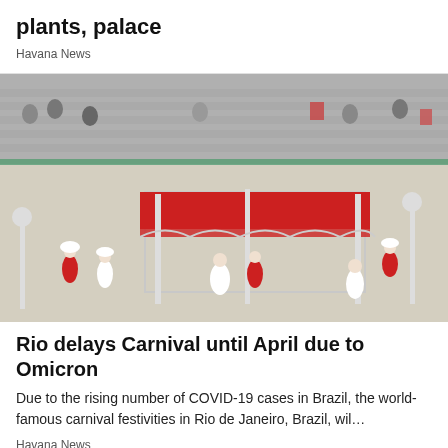plants, palace
Havana News
[Figure (photo): Carnival performers in red and white costumes around an ornate silver and red canopy structure on a parade ground, with spectators in the background.]
Rio delays Carnival until April due to Omicron
Due to the rising number of COVID-19 cases in Brazil, the world-famous carnival festivities in Rio de Janeiro, Brazil, wil…
Havana News